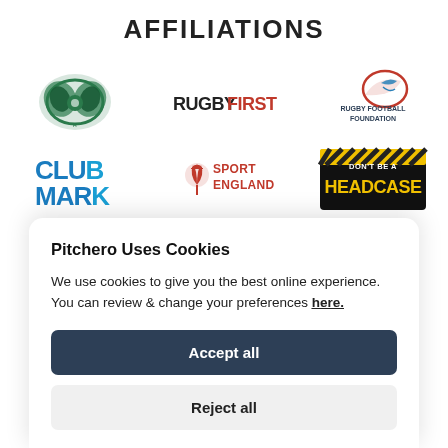AFFILIATIONS
[Figure (logo): Green decorative logo (rugby club emblem) - first affiliation logo]
[Figure (logo): RUGBYFIRST logo in dark text]
[Figure (logo): Rugby Football Foundation logo with swoosh]
[Figure (logo): ClubMark logo in blue]
[Figure (logo): Sport England logo with red tulip icon]
[Figure (logo): Don't Be A Headcase logo - black background with yellow text]
Pitchero Uses Cookies
We use cookies to give you the best online experience. You can review & change your preferences here.
Accept all
Reject all